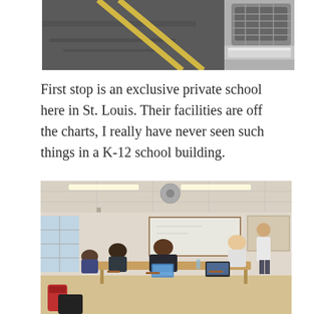[Figure (photo): Top portion of a road with yellow lane markings and the front grille/bumper of a car visible at the right edge.]
First stop is an exclusive private school here in St. Louis. Their facilities are off the charts, I really have never seen such things in a K-12 school building.
[Figure (photo): Interior of a school classroom with students seated at wooden tables using laptops. A teacher or presenter stands at the front near a whiteboard. Large windows on the left let in natural light. Ceiling fans and fluorescent lights are visible overhead.]